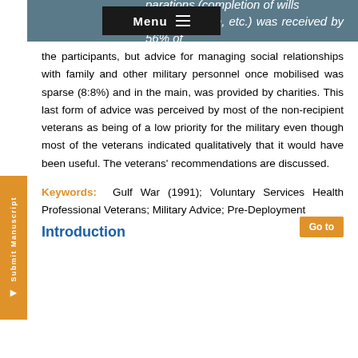…parations (completion of wills and insurance, etc.) was received by 56% of
the participants, but advice for managing social relationships with family and other military personnel once mobilised was sparse (8:8%) and in the main, was provided by charities. This last form of advice was perceived by most of the non-recipient veterans as being of a low priority for the military even though most of the veterans indicated qualitatively that it would have been useful. The veterans' recommendations are discussed.
Keywords: Gulf War (1991); Voluntary Services Health Professional Veterans; Military Advice; Pre-Deployment
Introduction